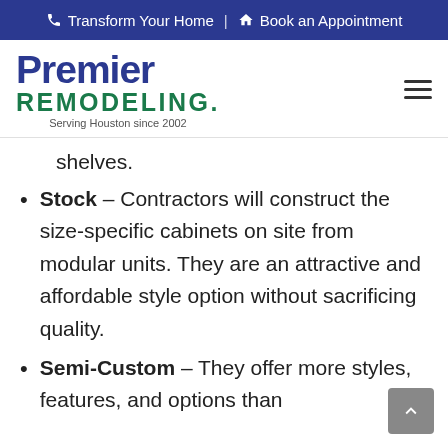Transform Your Home | Book an Appointment
[Figure (logo): Premier Remodeling logo with text 'Serving Houston since 2002']
shelves.
Stock – Contractors will construct the size-specific cabinets on site from modular units. They are an attractive and affordable style option without sacrificing quality.
Semi-Custom – They offer more styles, features, and options than